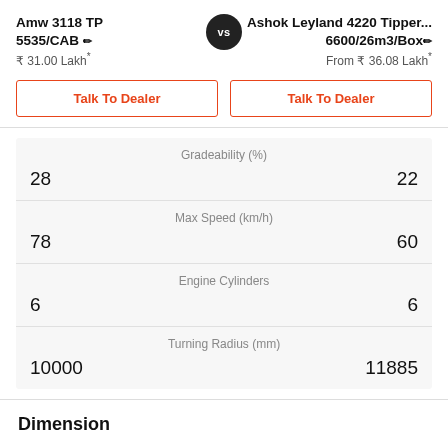Amw 3118 TP 5535/CAB
₹ 31.00 Lakh*
vs
Ashok Leyland 4220 Tipper... 6600/26m3/Box
From ₹ 36.08 Lakh*
Talk To Dealer
Talk To Dealer
| AMW | Spec | Ashok Leyland |
| --- | --- | --- |
| 28 | Gradeability (%) | 22 |
| 78 | Max Speed (km/h) | 60 |
| 6 | Engine Cylinders | 6 |
| 10000 | Turning Radius (mm) | 11885 |
Dimension